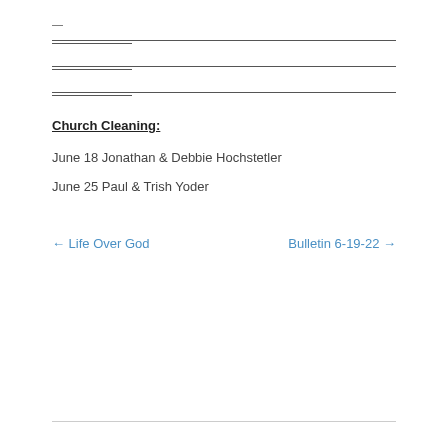—
— (horizontal rules)
— (horizontal rules)
— (horizontal rules)
Church Cleaning:
June 18 Jonathan & Debbie Hochstetler
June 25 Paul & Trish Yoder
← Life Over God        Bulletin 6-19-22 →